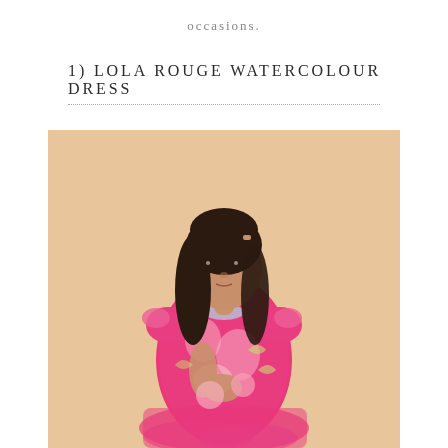occasions.
1) LOLA ROUGE WATERCOLOUR DRESS
[Figure (photo): A young girl wearing a bright pink floral watercolour dress with a tulle skirt, posing against a warm beige/tan background. She has long dark hair and is looking at the camera with her hands clasped near her chest.]